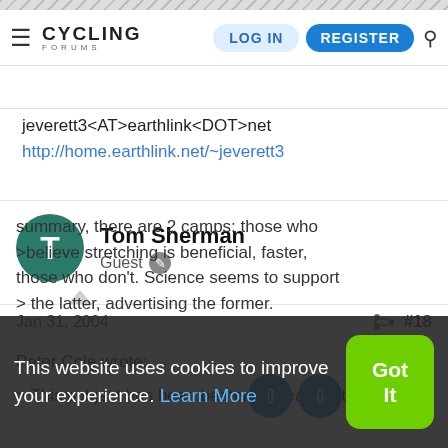Cycling Forums — LOG IN | REGISTER
jeverett3<AT>earthlink<DOT>net
http://home.earthlink.net/~jeverett3
Tom Sherman
Guest
Jan 31, 2004  #18
Peter Cole wrote:
> This subject has been beaten to death in the past. In summary, there are 2 camps: those who
>believe stretching is beneficial, those who don't. Science seems to support
> the latter, advertising the former.
This website uses cookies to improve your experience. Learn More